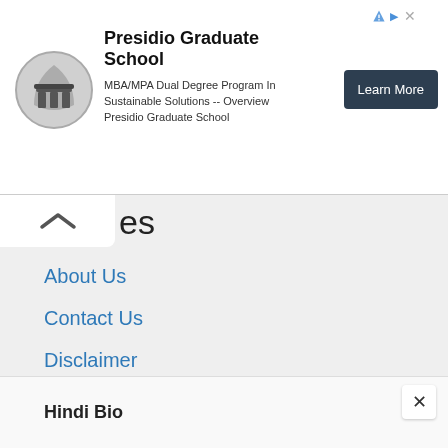[Figure (infographic): Advertisement banner for Presidio Graduate School. Logo circle on left, school name title, description text, and Learn More button on right.]
Presidio Graduate School
MBA/MPA Dual Degree Program In Sustainable Solutions -- Overview Presidio Graduate School
es
About Us
Contact Us
Disclaimer
Privacy Policy
Terms And Condition
Hindi Bio